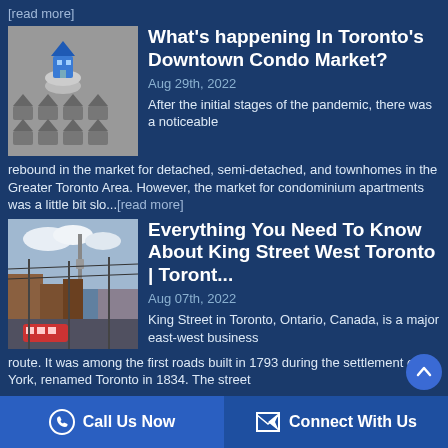[read more]
[Figure (photo): Close-up photo of a small blue house figurine placed on top of a coin, surrounded by grey house figurines on a chess-board like surface]
What's happening In Toronto's Downtown Condo Market?
Aug 29th, 2022
After the initial stages of the pandemic, there was a noticeable rebound in the market for detached, semi-detached, and townhomes in the Greater Toronto Area. However, the market for condominium apartments was a little bit slo...[read more]
[Figure (photo): Street photo of King Street West Toronto with buildings, streetcar, CN Tower visible in background, taken on a partly cloudy day]
Everything You Need To Know About King Street West Toronto | Toront...
Aug 07th, 2022
King Street in Toronto, Ontario, Canada, is a major east-west business route. It was among the first roads built in 1793 during the settlement of York, renamed Toronto in 1834. The street
Call Us Now | Connect With Us